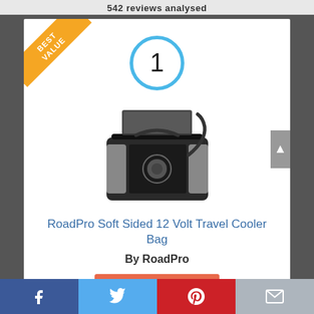542 reviews analysed
[Figure (photo): RoadPro Soft Sided 12 Volt Travel Cooler Bag product photo — black and grey soft-sided cooler bag with shoulder strap — shown on white background. A gold 'BEST VALUE' diagonal banner appears in the top-left corner. A number 1 rank badge (blue circle) appears above the product.]
RoadPro Soft Sided 12 Volt Travel Cooler Bag
By RoadPro
View Product
9.4